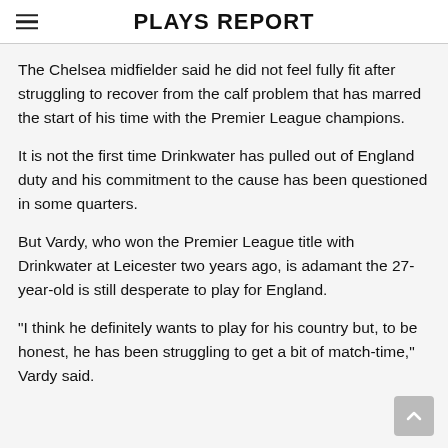PLAYS REPORT
The Chelsea midfielder said he did not feel fully fit after struggling to recover from the calf problem that has marred the start of his time with the Premier League champions.
It is not the first time Drinkwater has pulled out of England duty and his commitment to the cause has been questioned in some quarters.
But Vardy, who won the Premier League title with Drinkwater at Leicester two years ago, is adamant the 27-year-old is still desperate to play for England.
"I think he definitely wants to play for his country but, to be honest, he has been struggling to get a bit of match-time," Vardy said.